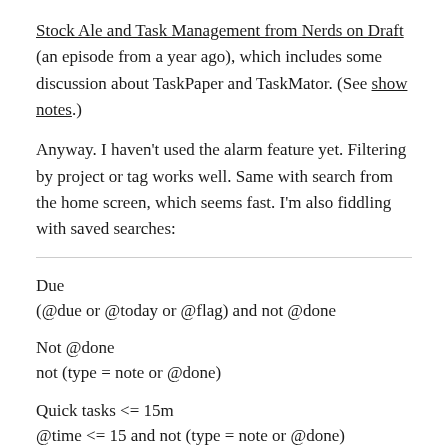Stock Ale and Task Management from Nerds on Draft (an episode from a year ago), which includes some discussion about TaskPaper and TaskMator. (See show notes.)
Anyway. I haven't used the alarm feature yet. Filtering by project or tag works well. Same with search from the home screen, which seems fast. I'm also fiddling with saved searches:
Due
(@due or @today or @flag) and not @done
Not @done
not (type = note or @done)
Quick tasks <= 15m
@time <= 15 and not (type = note or @done)